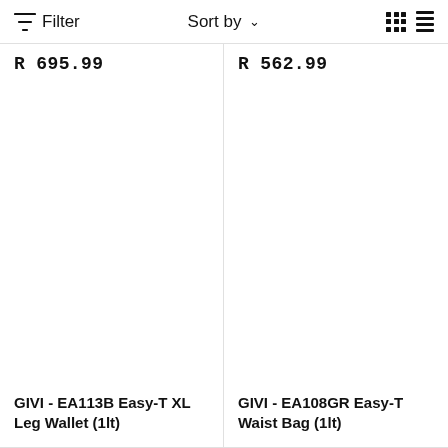Filter  Sort by  [grid view] [list view]
R 695.99
R 562.99
GIVI - EA113B Easy-T XL Leg Wallet (1lt)
GIVI - EA108GR Easy-T Waist Bag (1lt)